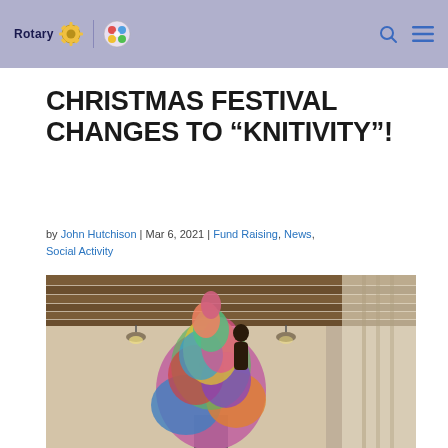Rotary [logo] | [club badge] — search icon, menu icon
CHRISTMAS FESTIVAL CHANGES TO “KNITIVITY”!
by John Hutchison | Mar 6, 2021 | Fund Raising, News, Social Activity
[Figure (photo): Interior photo of a hall or church space showing a Christmas tree made of knitted colourful fabric pieces, reaching up toward a wooden slatted ceiling with pendant lights. A window with light shining through is visible on the right side.]